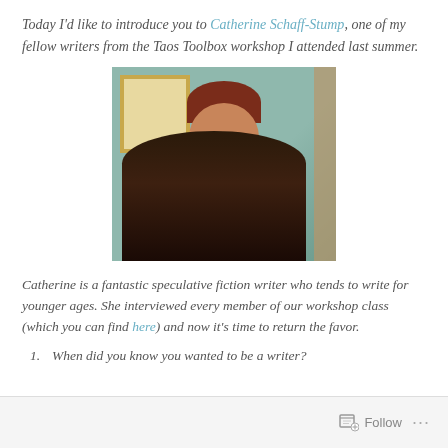Today I'd like to introduce you to Catherine Schaff-Stump, one of my fellow writers from the Taos Toolbox workshop I attended last summer.
[Figure (photo): A woman with short reddish-brown hair and glasses resting her chin on her hand, photographed indoors against a green wall with a framed picture and an electrical outlet visible in the background.]
Catherine is a fantastic speculative fiction writer who tends to write for younger ages. She interviewed every member of our workshop class (which you can find here) and now it's time to return the favor.
1.    When did you know you wanted to be a writer?
Follow ...